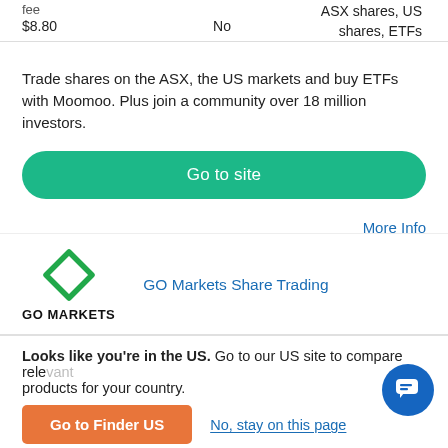| fee |  | ASX shares, US shares, ETFs |
| --- | --- | --- |
| $8.80 | No | ASX shares, US shares, ETFs |
Trade shares on the ASX, the US markets and buy ETFs with Moomoo. Plus join a community over 18 million investors.
Go to site
More Info
Compare
[Figure (logo): GO Markets green diamond logo with text GO MARKETS below]
GO Markets Share Trading
Looks like you're in the US. Go to our US site to compare relevant products for your country.
Go to Finder US
No, stay on this page